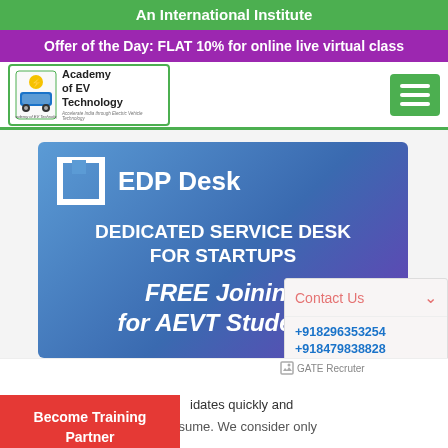An International Institute
Offer of the Day: FLAT 10% for online live virtual class
[Figure (logo): Academy of EV Technology logo with green electric car icon]
[Figure (infographic): EDP Desk banner - Dedicated Service Desk for Startups, FREE Joining for AEVT Students]
Contact Us
+918296353254
+918479838828
11 AM to 6 PM
[Figure (photo): GATE Recruter image placeholder]
Finding candidates quickly and
Post Your Job and Search Resume. We consider only
Become Training Partner